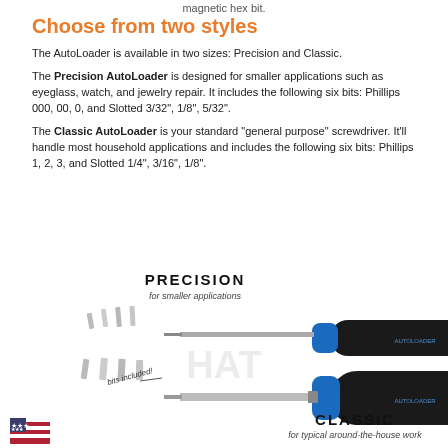magnetic hex bit.
Choose from two styles
The AutoLoader is available in two sizes: Precision and Classic.
The Precision AutoLoader is designed for smaller applications such as eyeglass, watch, and jewelry repair. It includes the following six bits: Phillips 000, 00, 0, and Slotted 3/32", 1/8", 5/32".
The Classic AutoLoader is your standard "general purpose" screwdriver. It'll handle most household applications and includes the following six bits: Phillips 1, 2, 3, and Slotted 1/4", 3/16", 1/8".
[Figure (photo): Photo of two AutoLoader screwdrivers (Precision and Classic) with bits included, labeled PRECISION for smaller applications and CLASSIC for typical around-the-house work, with a US flag icon and 'bits included!' text.]